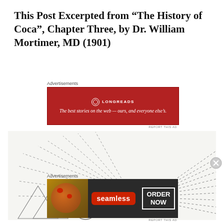This Post Excerpted from “The History of Coca”, Chapter Three, by Dr. William Mortimer, MD (1901)
Advertisements
[Figure (other): Longreads advertisement banner in dark red: logo circle with 'LONGREADS' text and tagline 'The best stories on the web — ours, and everyone else's.']
[Figure (illustration): Black and white illustration showing radiating dashed lines emanating from a central figure (person with helmet/wings) with mountains and skulls, reminiscent of an engraving from a historical book.]
Advertisements
[Figure (other): Seamless food delivery advertisement showing pizza slices on left, Seamless logo in red center, and 'ORDER NOW' button on right, on dark background.]